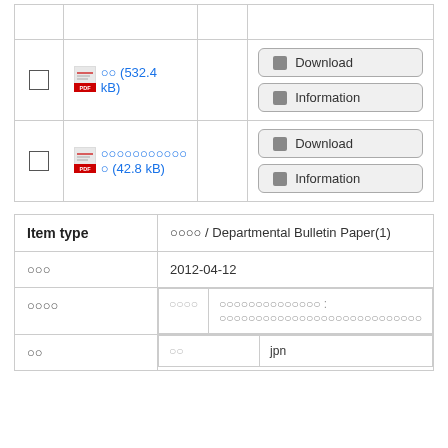|  | File |  | Actions |
| --- | --- | --- | --- |
| ☐ | 📄 ○○ (532.4 kB) |  | Download | Information |
| ☐ | 📄 ○○○○○○○○○○○ (42.8 kB) |  | Download | Information |
| Field | Value |
| --- | --- |
| Item type | 紀要論文 / Departmental Bulletin Paper(1) |
| 登録日時 | 2012-04-12 |
| 更新日時 |  |
| タイトル | ○○○○○○○○○○○○○○ : ○○○○○○○○○○○○○○○○○○○○○○○○○○○○ |
| 言語 |  |
| 言語 | jpn |